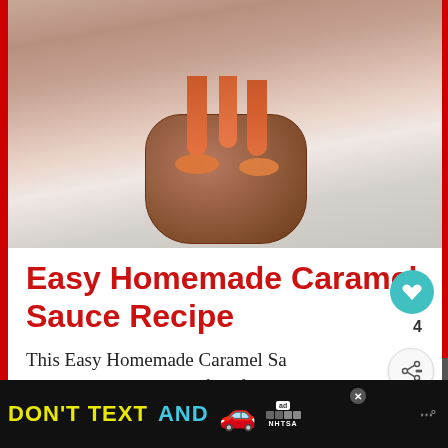[Figure (photo): Close-up photo of a glass jar filled with homemade caramel sauce, with caramel dripping down the sides onto a marble surface]
Easy Homemade Caramel Sauce Recipe
This Easy Homemade Caramel Sauce Recipe uses just a handful of ingredients & the wet caramelization method to make
[Figure (infographic): NHTSA 'Don't Text and Drive' advertisement banner at bottom of page]